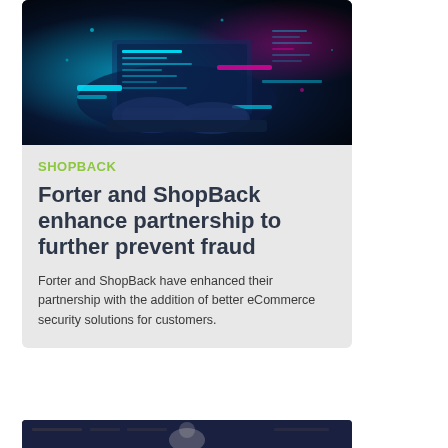[Figure (photo): Person typing on a laptop with blue neon digital code and cybersecurity interface glowing on screen, dark background with cyan and pink light effects]
SHOPBACK
Forter and ShopBack enhance partnership to further prevent fraud
Forter and ShopBack have enhanced their partnership with the addition of better eCommerce security solutions for customers.
[Figure (photo): Partial view of a person in a white shirt against a dark tech interface background, likely a portrait or profile image]